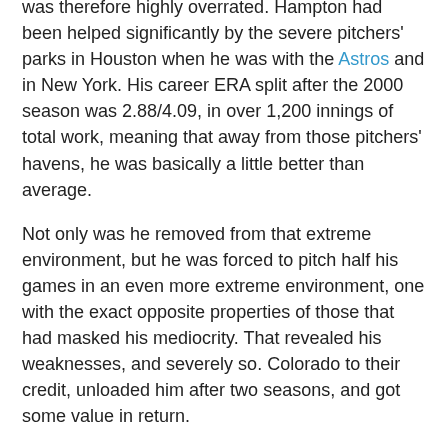was therefore highly overrated. Hampton had been helped significantly by the severe pitchers' parks in Houston when he was with the Astros and in New York. His career ERA split after the 2000 season was 2.88/4.09, in over 1,200 innings of total work, meaning that away from those pitchers' havens, he was basically a little better than average.
Not only was he removed from that extreme environment, but he was forced to pitch half his games in an even more extreme environment, one with the exact opposite properties of those that had masked his mediocrity. That revealed his weaknesses, and severely so. Colorado to their credit, unloaded him after two seasons, and got some value in return.
Sabathia is none of these things. Unlike Brown, he's not almost 35. Unlike Hampton, his success does not come from the parks he's called home. Unlike Zito, he doesn't have rising walk rates and dropping strikeout rates and his best season was last year, not five seasons ago.
He doesn't have control problems. He doesn't have obviously problematic mechanics. He doesn't just "get by"